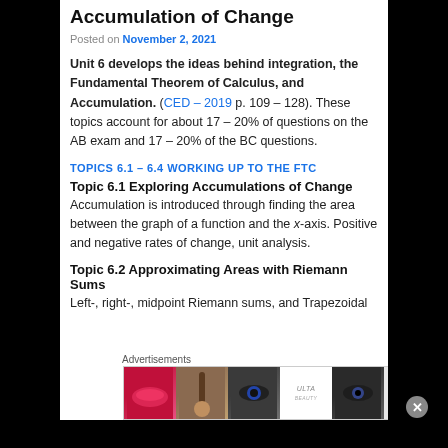Accumulation of Change
Posted on November 2, 2021
Unit 6 develops the ideas behind integration, the Fundamental Theorem of Calculus, and Accumulation. (CED – 2019 p. 109 – 128). These topics account for about 17 – 20% of questions on the AB exam and 17 – 20% of the BC questions.
TOPICS 6.1 – 6.4 WORKING UP TO THE FTC
Topic 6.1 Exploring Accumulations of Change
Accumulation is introduced through finding the area between the graph of a function and the x-axis. Positive and negative rates of change, unit analysis.
Topic 6.2 Approximating Areas with Riemann Sums
Left-, right-, midpoint Riemann sums, and Trapezoidal sums with uniform partitions and equal subintervals.
[Figure (photo): Advertisement banner for Ulta Beauty showing cosmetics imagery including lips, makeup brush, eyes, Ulta logo, and SHOP NOW text]